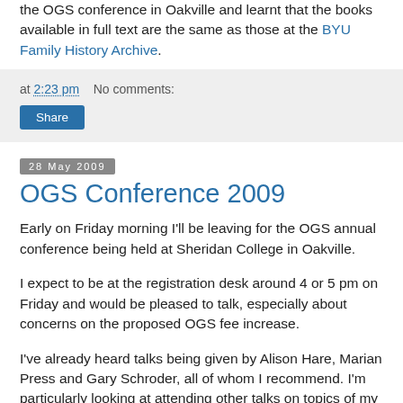the OGS conference in Oakville and learnt that the books available in full text are the same as those at the BYU Family History Archive.
at 2:23 pm   No comments:
Share
28 May 2009
OGS Conference 2009
Early on Friday morning I'll be leaving for the OGS annual conference being held at Sheridan College in Oakville.
I expect to be at the registration desk around 4 or 5 pm on Friday and would be pleased to talk, especially about concerns on the proposed OGS fee increase.
I've already heard talks being given by Alison Hare, Marian Press and Gary Schroder, all of whom I recommend. I'm particularly looking at attending other talks on topics of my